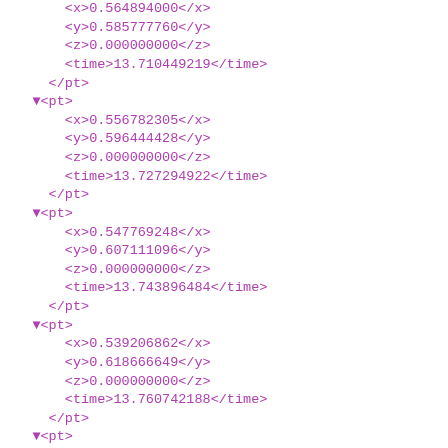XML/markup code showing pt elements with x, y, z, time child elements and coordinate/time values